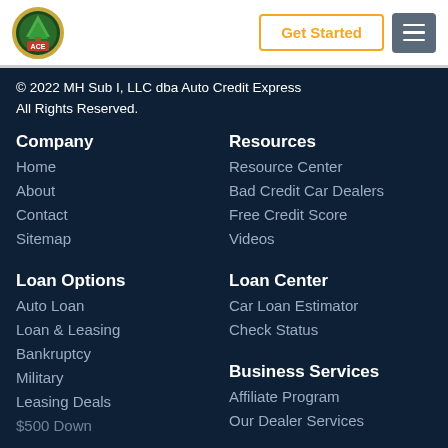[Figure (logo): Auto Credit Express circular logo with tree and ACE badge]
Get Started
© 2022 MH Sub I, LLC dba Auto Credit Express All Rights Reserved.
Company
Home
About
Contact
Sitemap
Resources
Resource Center
Bad Credit Car Dealers
Free Credit Score
Videos
Loan Options
Auto Loan
Loan & Leasing
Bankruptcy
Military
Leasing Deals
$500 Down
Loan Center
Car Loan Estimator
Check Status
Business Services
Affiliate Program
Our Dealer Services